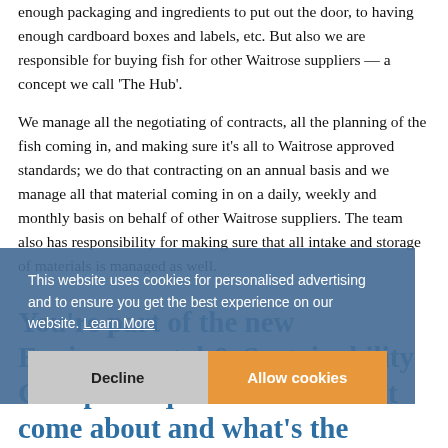enough packaging and ingredients to put out the door, to having enough cardboard boxes and labels, etc. But also we are responsible for buying fish for other Waitrose suppliers — a concept we call 'The Hub'.
We manage all the negotiating of contracts, all the planning of the fish coming in, and making sure it's all to Waitrose approved standards; we do that contracting on an annual basis and we manage all that material coming in on a daily, weekly and monthly basis on behalf of other Waitrose suppliers. The team also has responsibility for making sure that all intake and storage of materials is managed as well.
You're part of the new Environmental & Sustainability Group at Aquascot. How did it come about and what's the